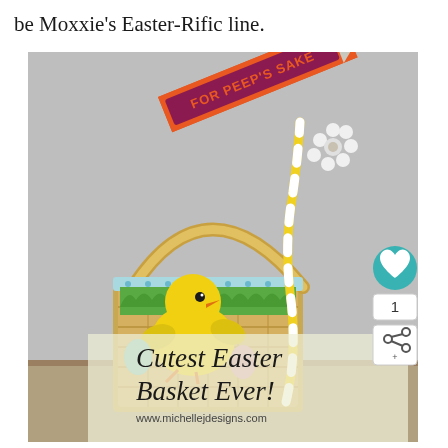be Moxxie’s Easter-Rific line.
[Figure (photo): Easter basket with a yellow Peeps chick candy, colorful eggs, a decorative straw with a daisy flower topper, and a banner flag reading 'FOR PEEP'S SAKE'. Overlay text reads 'Cutest Easter Basket Ever!' and 'www.michellejdesigns.com'.]